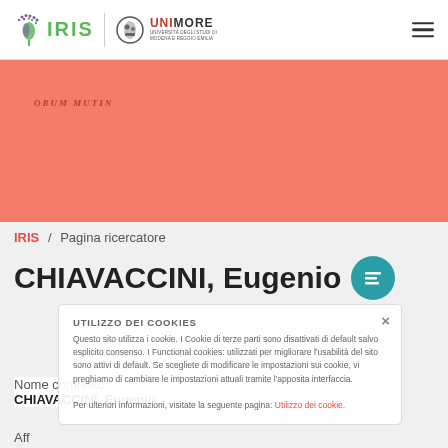IRIS | UNIMORE - Università degli Studi di Modena e Reggio Emilia
[Figure (illustration): Red/salmon banner with 'ORUM MUTIN' badge text]
IRIS / Pagina ricercatore
CHIAVACCINI, Eugenio
UTILIZZO DEI COOKIES
Questo sito utilizza i cookie. I Cookie di terze parti sono disattivati di default salvo esplicito consenso. I Functional cookies: utilizzati per migliorare l'usabilità del sito sono attivi di default. Se scegliete di modificare le impostazioni sui cookie, vi preghiamo di cambiare le impostazioni attuali tramite l'apposita interfaccia.
Per ulteriori informazioni, visitate la seguente pagina: Utilizzo dei cookie.
Nome completo
CHIAVACCINI, Eugenio
Aff